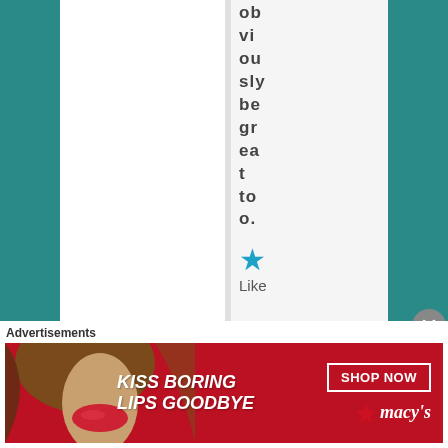obviously be great too.
★ Like
mredlich21 on
Advertisements
[Figure (photo): Advertisement banner: red background with woman's face and lips. Text: KISS BORING LIPS GOODBYE, SHOP NOW, Macy's logo with star.]